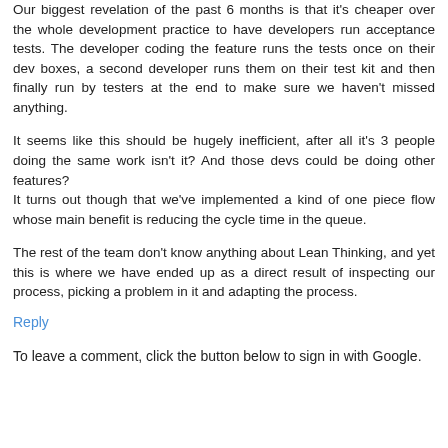Our biggest revelation of the past 6 months is that it's cheaper over the whole development practice to have developers run acceptance tests. The developer coding the feature runs the tests once on their dev boxes, a second developer runs them on their test kit and then finally run by testers at the end to make sure we haven't missed anything.
It seems like this should be hugely inefficient, after all it's 3 people doing the same work isn't it? And those devs could be doing other features?
It turns out though that we've implemented a kind of one piece flow whose main benefit is reducing the cycle time in the queue.
The rest of the team don't know anything about Lean Thinking, and yet this is where we have ended up as a direct result of inspecting our process, picking a problem in it and adapting the process.
Reply
To leave a comment, click the button below to sign in with Google.